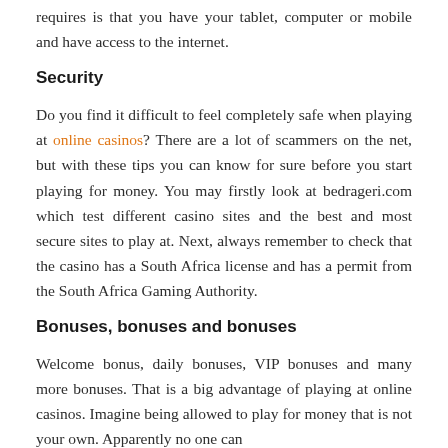requires is that you have your tablet, computer or mobile and have access to the internet.
Security
Do you find it difficult to feel completely safe when playing at online casinos? There are a lot of scammers on the net, but with these tips you can know for sure before you start playing for money. You may firstly look at bedrageri.com which test different casino sites and the best and most secure sites to play at. Next, always remember to check that the casino has a South Africa license and has a permit from the South Africa Gaming Authority.
Bonuses, bonuses and bonuses
Welcome bonus, daily bonuses, VIP bonuses and many more bonuses. That is a big advantage of playing at online casinos. Imagine being allowed to play for money that is not your own. Apparently no one can